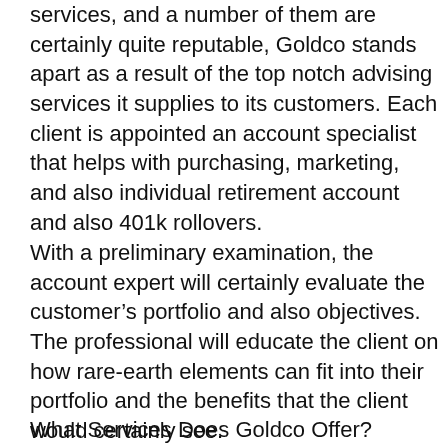services, and a number of them are certainly quite reputable, Goldco stands apart as a result of the top notch advising services it supplies to its customers. Each client is appointed an account specialist that helps with purchasing, marketing, and also individual retirement account and also 401k rollovers.
With a preliminary examination, the account expert will certainly evaluate the customer's portfolio and also objectives. The professional will educate the client on how rare-earth elements can fit into their portfolio and the benefits that the client would certainly see.
What Services Does Goldco Offer?